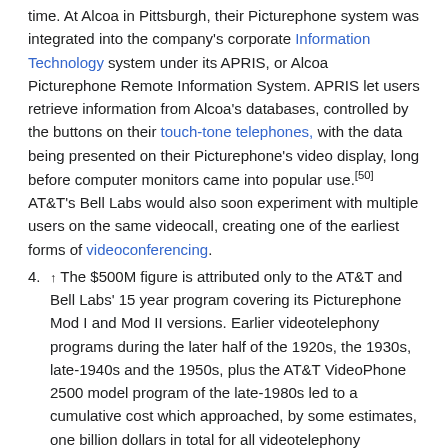time. At Alcoa in Pittsburgh, their Picturephone system was integrated into the company's corporate Information Technology system under its APRIS, or Alcoa Picturephone Remote Information System. APRIS let users retrieve information from Alcoa's databases, controlled by the buttons on their touch-tone telephones, with the data being presented on their Picturephone's video display, long before computer monitors came into popular use.[50] AT&T's Bell Labs would also soon experiment with multiple users on the same videocall, creating one of the earliest forms of videoconferencing.
4. ↑ The $500M figure is attributed only to the AT&T and Bell Labs' 15 year program covering its Picturephone Mod I and Mod II versions. Earlier videotelephony programs during the later half of the 1920s, the 1930s, late-1940s and the 1950s, plus the AT&T VideoPhone 2500 model program of the late-1980s led to a cumulative cost which approached, by some estimates, one billion dollars in total for all videotelephony development.
References
1. 1 2 Videophone definition, Merriam-Webster Online. Retrieved April 13, 2009